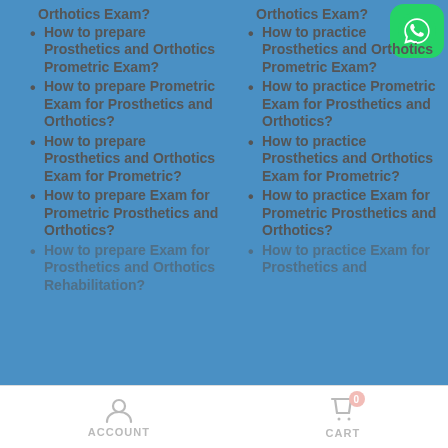Orthotics Exam?
How to prepare Prosthetics and Orthotics Prometric Exam?
How to prepare Prometric Exam for Prosthetics and Orthotics?
How to prepare Prosthetics and Orthotics Exam for Prometric?
How to prepare Exam for Prometric Prosthetics and Orthotics?
How to prepare Exam for Prosthetics and Orthotics Rehabilitation?
Orthotics Exam?
How to practice Prosthetics and Orthotics Prometric Exam?
How to practice Prometric Exam for Prosthetics and Orthotics?
How to practice Prosthetics and Orthotics Exam for Prometric?
How to practice Exam for Prometric Prosthetics and Orthotics?
How to practice Exam for Prosthetics and